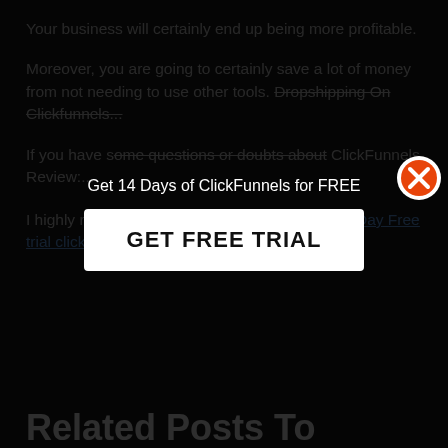Your business will certainly end up being more profitable.
Moreover, you are going to certainly save a lot of money from not needing to use other tools. Dropshipping On Clickfunnels...
If you have s... ClickFunnels Review:...
I highly recommend you to test ClickFunnels 14 Day Free trial clicking here.
[Figure (screenshot): Popup overlay with dark background showing 'Get 14 Days of ClickFunnels for FREE' text and a white 'GET FREE TRIAL' button, with an orange X close button in the top-right corner.]
Related Posts To